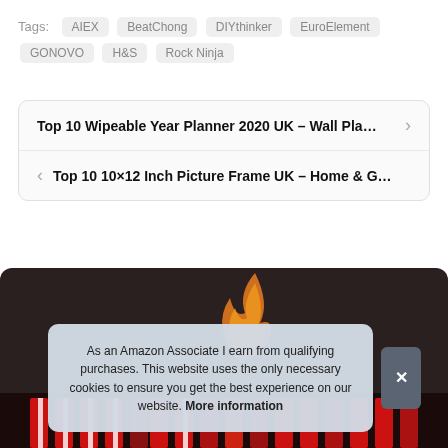Tags: AIEX  BeatChong  DIYthinker  EuroElement  GONOVO  H&S  Rock Ninja
Top 10 Wipeable Year Planner 2020 UK – Wall Pla…
Top 10 10×12 Inch Picture Frame UK – Home & G…
[Figure (photo): Dark background image with ties/scarves at the bottom and an orange flame/streak element]
As an Amazon Associate I earn from qualifying purchases. This website uses the only necessary cookies to ensure you get the best experience on our website. More information